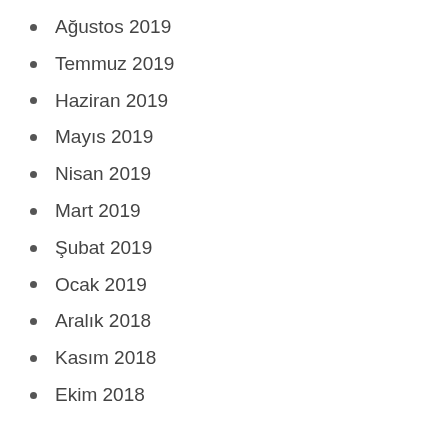Ağustos 2019
Temmuz 2019
Haziran 2019
Mayıs 2019
Nisan 2019
Mart 2019
Şubat 2019
Ocak 2019
Aralık 2018
Kasım 2018
Ekim 2018